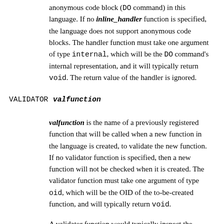anonymous code block (DO command) in this language. If no inline_handler function is specified, the language does not support anonymous code blocks. The handler function must take one argument of type internal, which will be the DO command's internal representation, and it will typically return void. The return value of the handler is ignored.
VALIDATOR valfunction
valfunction is the name of a previously registered function that will be called when a new function in the language is created, to validate the new function. If no validator function is specified, then a new function will not be checked when it is created. The validator function must take one argument of type oid, which will be the OID of the to-be-created function, and will typically return void.
A validator function would typically inspect the